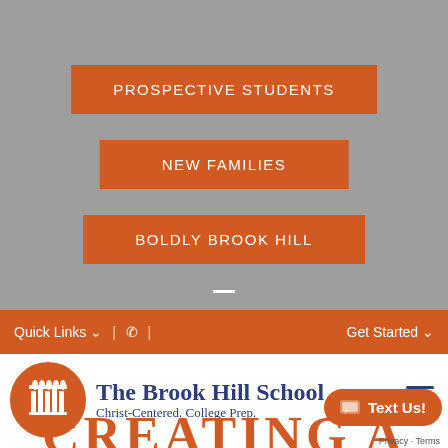PROSPECTIVE STUDENTS
NEW FAMILIES
BOLDLY BROOK HILL
Quick Links | Get Started
[Figure (logo): The Brook Hill School circular orange logo with building icon]
The Brook Hill School
Christ-Centered. College Prep.
Text Us!
CREATING A
Privacy · Terms